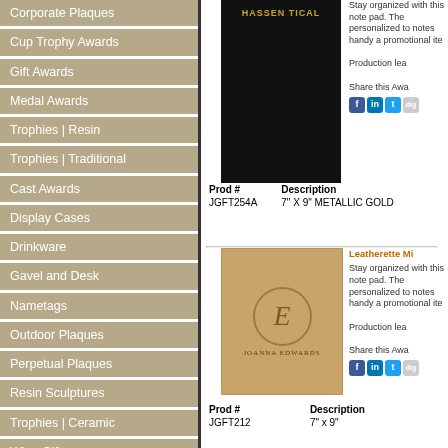Corporate Plaques
Cup Trophy Awards
Gift Awards
Medal Awards
Trophies | Resin
Trophies | Traditional
Cast Awards
Display Cases
Drinkware
Gavel and Desk
Nametags
Outdoor Plaques
Perpetual Plaques
Resin Sculptures
Trophies | Ceramic
Wine Gifts
Wood Awards
[Figure (photo): Black leatherette notepad with gold HassenOptical logo]
Stay organized with this note pad. The personalized to notes handy as promotional ite
Production lea
Share this Awa
| Prod # | Description |
| --- | --- |
| JGFT254A | 7" X 9" METALLIC GOLD |
[Figure (photo): Tan leatherette notepad with monogram E and JoAnna Edwards engraving]
Leatherette Mi
Stay organized with this note pad. The personalized to notes handy as promotional ite
Production lea
Share this Awa
| Prod # | Description |
| --- | --- |
| JGFT212 | 7" x 9" |